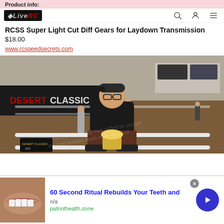Product info:
LiveRC (logo/nav bar)
RCSS Super Light Cut Diff Gears for Laydown Transmission
$18.00
www.rcspeedsecrets.com
[Figure (photo): Person crouching on an indoor RC car track holding a gold trophy cup, wearing a black Tekno RC shirt and baseball cap backwards. A 'Desert Classic' banner is visible in the background. Watermark text partially visible.]
60 Second Ritual Rebuilds Your Teeth and
n/a
patriothealth.zone